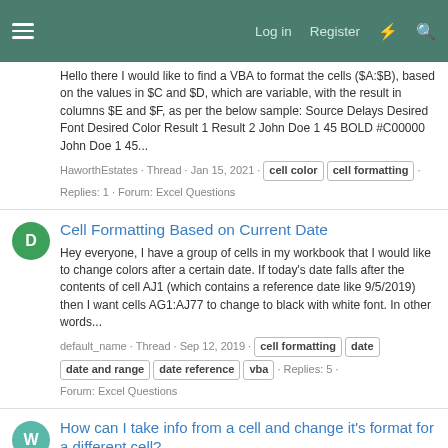Log in  Register
Hello there I would like to find a VBA to format the cells ($A:$B), based on the values in $C and $D, which are variable, with the result in columns $E and $F, as per the below sample: Source Delays Desired Font Desired Color Result 1 Result 2 John Doe 1 45 BOLD #C00000 John Doe 1 45...
HaworthEstates · Thread · Jan 15, 2021 · cell color  cell formatting · Replies: 1 · Forum: Excel Questions
Cell Formatting Based on Current Date
Hey everyone, I have a group of cells in my workbook that I would like to change colors after a certain date. If today's date falls after the contents of cell AJ1 (which contains a reference date like 9/5/2019) then I want cells AG1:AJ77 to change to black with white font. In other words...
default_name · Thread · Sep 12, 2019 · cell formatting  date  date and range  date reference  vba · Replies: 5 · Forum: Excel Questions
How can I take info from a cell and change it's format for a different cell?